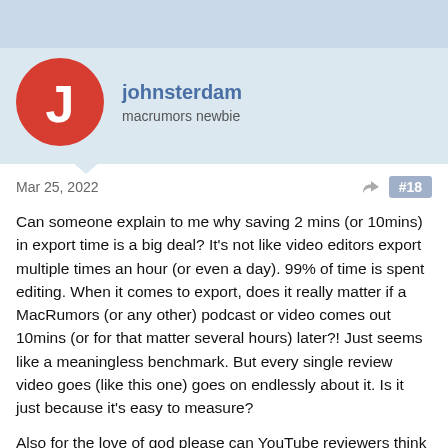[Figure (other): Top navigation bar area, light blue-grey background]
johnsterdam
macrumors newbie
Mar 25, 2022
#18
Can someone explain to me why saving 2 mins (or 10mins) in export time is a big deal? It's not like video editors export multiple times an hour (or even a day). 99% of time is spent editing. When it comes to export, does it really matter if a MacRumors (or any other) podcast or video comes out 10mins (or for that matter several hours) later?! Just seems like a meaningless benchmark. But every single review video goes (like this one) goes on endlessly about it. Is it just because it's easy to measure?
Also for the love of god please can YouTube reviewers think outside their own world? The logic seems to be 'I make review videos, so I need to look at is how good this hardware is for making videos'. The idea that other people might care about...